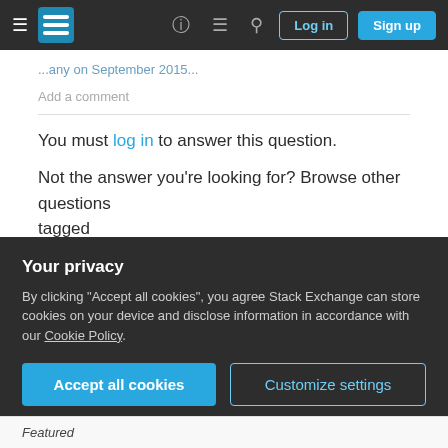Stack Exchange navigation bar with Log in and Sign up buttons
...any on September 2015...
Add a comment
You must log in to answer this question.
Not the answer you're looking for? Browse other questions tagged bug status-deferred notifications email .
Welcome!
Welcome! Meta Stack Exchange is intended for bugs, features,
Your privacy
By clicking "Accept all cookies", you agree Stack Exchange can store cookies on your device and disclose information in accordance with our Cookie Policy.
Featured